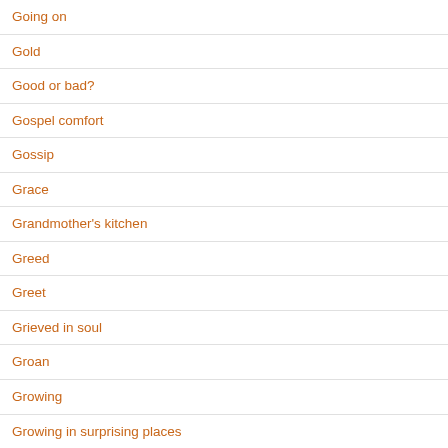Going on
Gold
Good or bad?
Gospel comfort
Gossip
Grace
Grandmother's kitchen
Greed
Greet
Grieved in soul
Groan
Growing
Growing in surprising places